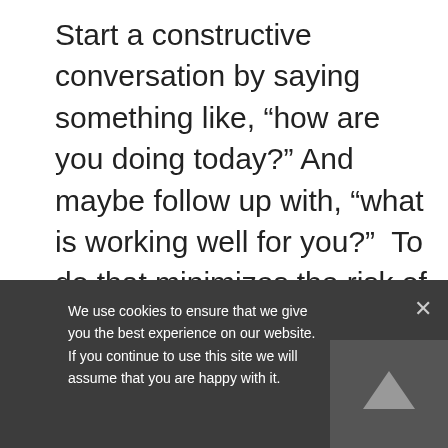Start a constructive conversation by saying something like, “how are you doing today?” And maybe follow up with, “what is working well for you?”  To do that minimizes the risk of generating a threat response and leaves a clear path for a more constructive dialogue.  Once you finish that, get straight to the point.
Do
not
say
“if
you
dis
agr
We use cookies to ensure that we give you the best experience on our website. If you continue to use this site we will assume that you are happy with it.